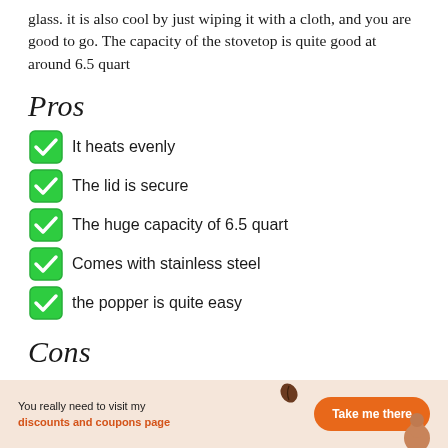glass. it is also cool by just wiping it with a cloth, and you are good to go. The capacity of the stovetop is quite good at around 6.5 quart
Pros
It heats evenly
The lid is secure
The huge capacity of 6.5 quart
Comes with stainless steel
the popper is quite easy
Cons
You really need to visit my discounts and coupons page